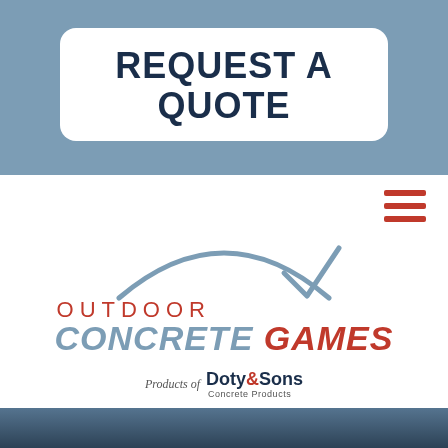REQUEST A QUOTE
[Figure (logo): Outdoor Concrete Games logo with arc swoosh graphic, text OUTDOOR CONCRETE GAMES, Products of Doty & Sons Concrete Products]
[Figure (photo): Footer photo strip showing outdoor scene with people and vehicles]